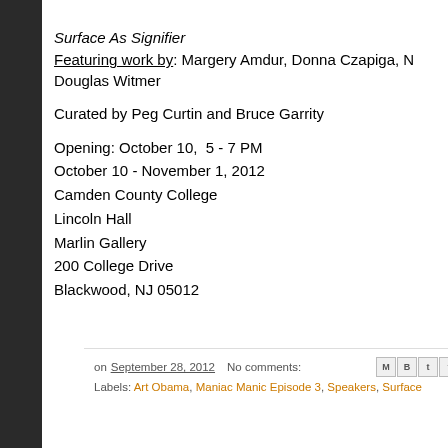Surface As Signifier
Featuring work by: Margery Amdur, Donna Czapiga, N… Douglas Witmer
Curated by Peg Curtin and Bruce Garrity
Opening: October 10,  5 - 7 PM
October 10 - November 1, 2012
Camden County College
Lincoln Hall
Marlin Gallery
200 College Drive
Blackwood, NJ 05012
on September 28, 2012   No comments:   Labels: Art Obama, Maniac Manic Episode 3, Speakers, Surface